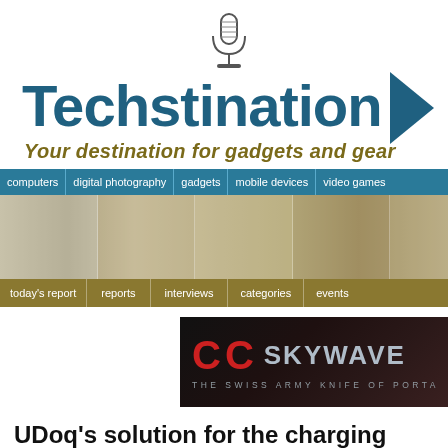[Figure (logo): Techstination logo with microphone icon, brand name in teal with right-pointing arrow, and tagline 'Your destination for gadgets and gear']
computers | digital photography | gadgets | mobile devices | video games
[Figure (photo): Horizontal banner image showing technology-related items in muted gold/brown tones]
today's report | reports | interviews | categories | events
[Figure (logo): CC Skywave advertisement banner - 'THE SWISS ARMY KNIFE OF PORTA...' on dark background]
UDoq's solution for the charging cable mess
Techstination feature for Monday, June 25, 2018